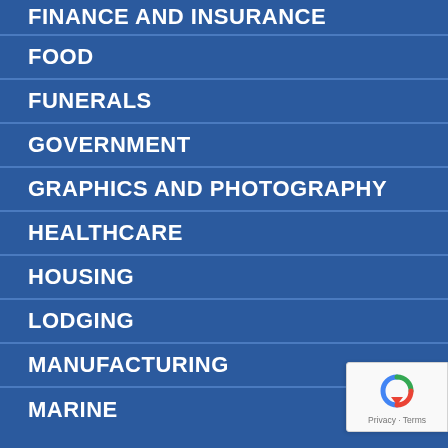FINANCE AND INSURANCE
FOOD
FUNERALS
GOVERNMENT
GRAPHICS AND PHOTOGRAPHY
HEALTHCARE
HOUSING
LODGING
MANUFACTURING
MARINE